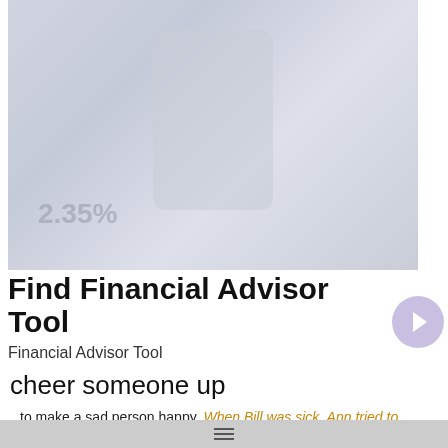[Figure (photo): A hand holding a smartphone with financial percentage figures visible (2.35%) on a blurred light blue/grey background.]
Find Financial Advisor Tool
Financial Advisor Tool
cheer someone up
to make a sad person happy. When Bill was sick, Ann tried to cheer him up by reading to him. Interest rates went up, and that cheered up all the bankers.
See also: cheer, up